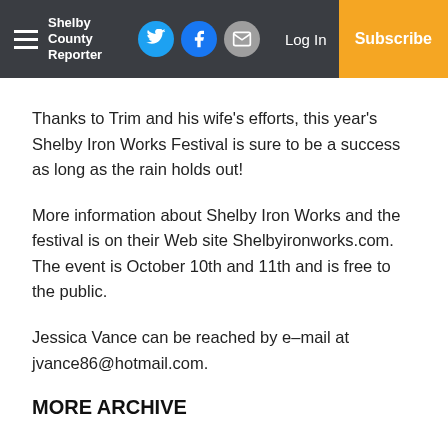Shelby County Reporter — Log In | Subscribe
Thanks to Trim and his wife’s efforts, this year’s Shelby Iron Works Festival is sure to be a success as long as the rain holds out!
More information about Shelby Iron Works and the festival is on their Web site Shelbyironworks.com. The event is October 10th and 11th and is free to the public.
Jessica Vance can be reached by e–mail at jvance86@hotmail.com.
MORE ARCHIVE